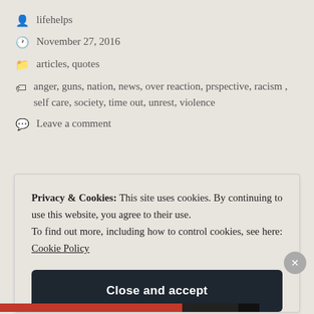lifehelps
November 27, 2016
articles, quotes
anger, guns, nation, news, over reaction, prspective, racism , self care, society, time out, unrest, violence
Leave a comment
Privacy & Cookies: This site uses cookies. By continuing to use this website, you agree to their use.
To find out more, including how to control cookies, see here: Cookie Policy
Close and accept